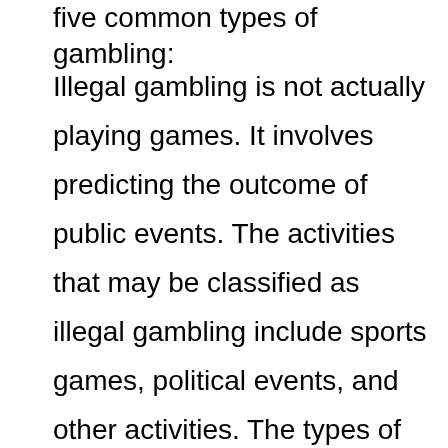five common types of gambling:
Illegal gambling is not actually playing games. It involves predicting the outcome of public events. The activities that may be classified as illegal gambling include sports games, political events, and other activities. The types of illegal gambling vary, but in general, sports games are the most popular. Illegal gambling activities are often conducted by individuals, often called bookies. These individuals are required to register with the government in certain regions. Fortunately, the government is taking action to limit this type of gambling.
Mental Health